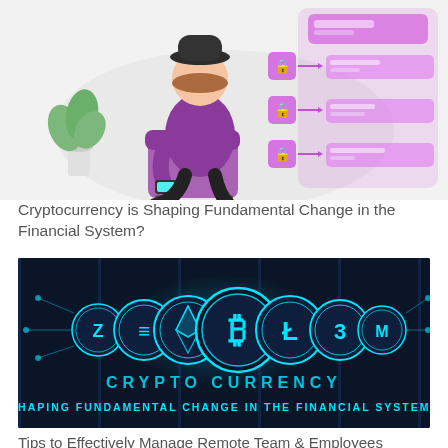[Figure (illustration): Person sitting in a purple chair using a smartphone, with a large purple mobile interface/dashboard shown to the right with lock icons and notification panels. Light background with a plant in the corner.]
Cryptocurrency is Shaping Fundamental Change in the Financial System?
[Figure (infographic): Dark navy background infographic showing cryptocurrency coins (Zcash, Ethereum, Bitcoin, Litecoin, and others) as glowing teal circular coins. Text reads: CRYPTO CURRENCY / SHAPING FUNDAMENTAL CHANGE IN THE FINANCIAL SYSTEM?]
Tips to Effectively Manage Remote Team & Employees